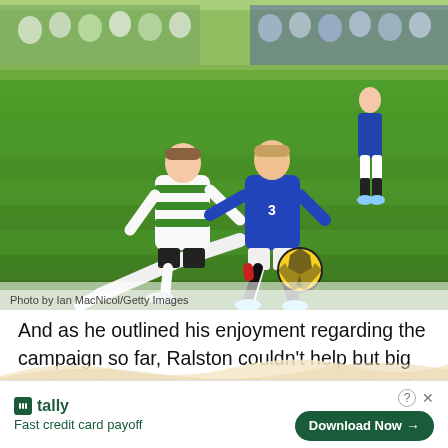[Figure (photo): Two soccer players competing for the ball during a Celtic vs Rangers match. A Celtic player in green-and-white hooped shirt attempts a shot while a Rangers player in blue kit (number 3) challenges. Yellow ball on green pitch. Crowd visible in background.]
Photo by Ian MacNicol/Getty Images
And as he outlined his enjoyment regarding the campaign so far, Ralston couldn't help but big up the role Ange has played. As quoted by the Daily Record, the right-back
[Figure (other): Tally app advertisement banner. Logo with green icon and 'tally' text. Tagline: 'Fast credit card payoff'. Button: 'Download Now →'. Help (?) and close (×) icons.]